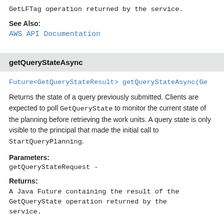GetLFTag operation returned by the service.
See Also:
AWS API Documentation
getQueryStateAsync
Future<GetQueryStateResult> getQueryStateAsync(Ge
Returns the state of a query previously submitted. Clients are expected to poll GetQueryState to monitor the current state of the planning before retrieving the work units. A query state is only visible to the principal that made the initial call to StartQueryPlanning.
Parameters:
getQueryStateRequest -
Returns:
A Java Future containing the result of the GetQueryState operation returned by the service.
See Also: